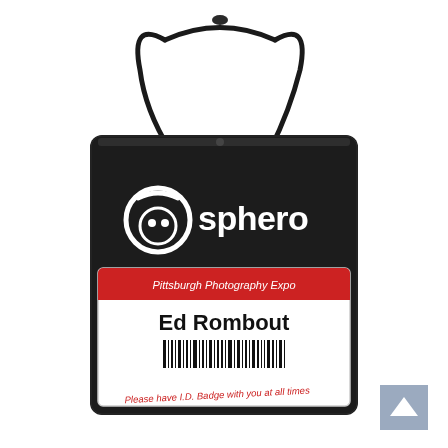[Figure (photo): A black fabric lanyard badge holder with a black cord/lanyard attached. The bag has a Sphero logo (white circular robot face icon and 'sphero' text) printed on the upper portion. A name badge is visible in a clear pocket at the bottom, showing 'Pittsburgh Photography Expo' on a red banner at the top of the badge, 'Ed Rombout' in bold black text in the center, a barcode beneath the name, and 'Please have I.D. Badge with you at all times' printed in red italic text at the bottom of the badge. The entire badge holder is set against a white background. A scroll-to-top button (blue-grey square with white upward chevron) appears in the bottom-right corner.]